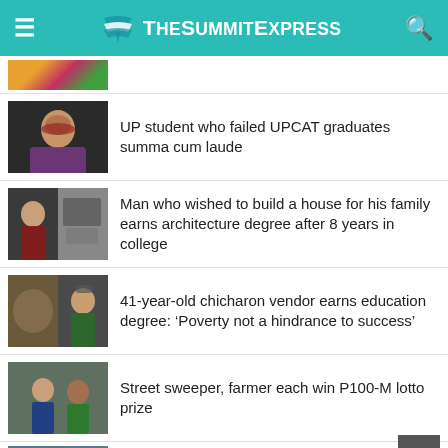TheSummitExpress
[Figure (photo): Partially visible thumbnail of a colorful image at the top]
[Figure (photo): Portrait photo of a young woman in graduation attire]
UP student who failed UPCAT graduates summa cum laude
[Figure (photo): Two-panel photo: man in graduation gown left, construction/shanty image right]
Man who wished to build a house for his family earns architecture degree after 8 years in college
[Figure (photo): Two-panel photo: chicharon vendor left, man in graduation gown right]
41-year-old chicharon vendor earns education degree: 'Poverty not a hindrance to success'
[Figure (photo): Photo of people possibly receiving lotto prize]
Street sweeper, farmer each win P100-M lotto prize
[Figure (photo): Partial thumbnail of scholar with mask]
Scholar who lost parents during pandemic